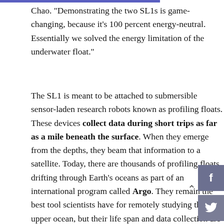Chao. "Demonstrating the two SL1s is game-changing, because it's 100 percent energy-neutral. Essentially we solved the energy limitation of the underwater float."
The SL1 is meant to be attached to submersible sensor-laden research robots known as profiling floats. These devices collect data during short trips as far as a mile beneath the surface. When they emerge from the depths, they beam that information to a satellite. Today, there are thousands of profiling floats drifting through Earth's oceans as part of an international program called Argo. They remain the best tool scientists have for remotely studying the upper ocean, but their life span and data collection are severely limited by their power sources.
All the floats in the Argo fleet are powered by lithium-ion batteries, which are typically only good for about five years or a few hundred dives. Their battery reliance limits how often they can dive; a typical float only does it once every 10 days. And after its battery dies, a float is usually abandoned, because the cost of collecting it is higher than the cost of the device itself. Still, a float can cost as much as a new car, which makes them...